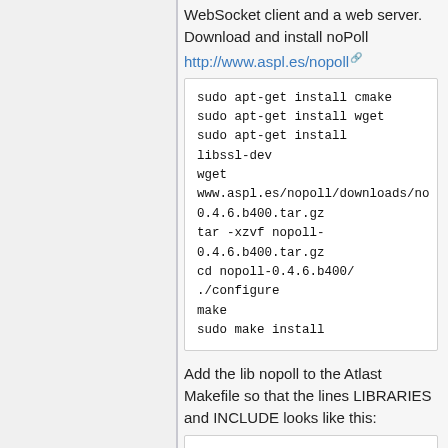WebSocket client and a web server. Download and install noPoll
http://www.aspl.es/nopoll
sudo apt-get install cmake
sudo apt-get install wget
sudo apt-get install libssl-dev
wget www.aspl.es/nopoll/downloads/nopoll-0.4.6.b400.tar.gz
tar -xzvf nopoll-0.4.6.b400.tar.gz
cd nopoll-0.4.6.b400/
./configure
make
sudo make install
Add the lib nopoll to the Atlast Makefile so that the lines LIBRARIES and INCLUDE looks like this: